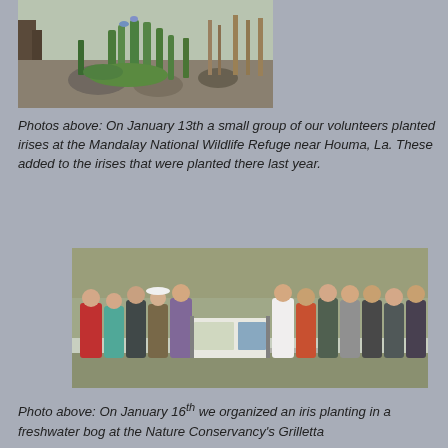[Figure (photo): Irises and green plants growing near trees and rocky area at Mandalay National Wildlife Refuge]
Photos above:  On January 13th a small group of our volunteers planted irises at the Mandalay National Wildlife Refuge near Houma, La.  These added to the irises that were planted there last year.
[Figure (photo): Group photo of approximately 15 volunteers standing on a path holding a banner, wearing masks, at Grilletta iris planting event on January 16th]
Photo above:  On January 16th we organized an iris planting in a freshwater bog at the Nature Conservancy's Grilletta